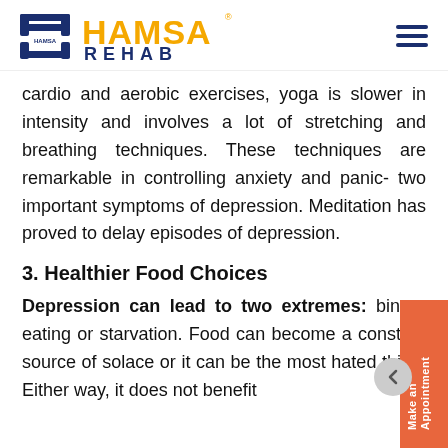HAMSA REHAB
cardio and aerobic exercises, yoga is slower in intensity and involves a lot of stretching and breathing techniques. These techniques are remarkable in controlling anxiety and panic- two important symptoms of depression. Meditation has proved to delay episodes of depression.
3. Healthier Food Choices
Depression can lead to two extremes: binge-eating or starvation. Food can become a constant source of solace or it can be the most hated thing. Either way, it does not benefit